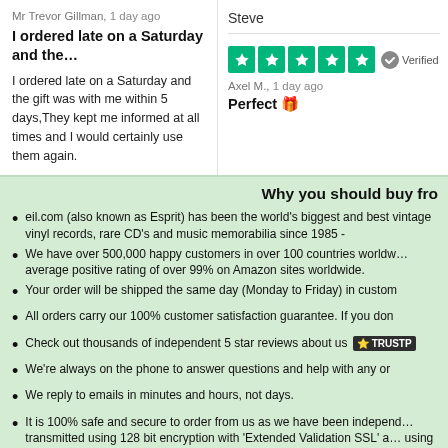Mr Trevor Gillman, 1 day ago
I ordered late on a Saturday and the…
I ordered late on a Saturday and the gift was with me within 5 days,They kept me informed at all times and I would certainly use them again.
Steve
[Figure (other): Five green Trustpilot stars with Verified badge]
Axel M., 1 day ago
Perfect 🎁
Why you should buy from
eil.com (also known as Esprit) has been the world's biggest and best vintage vinyl records, rare CD's and music memorabilia since 1985 -
We have over 500,000 happy customers in over 100 countries worldw… average positive rating of over 99% on Amazon sites worldwide.
Your order will be shipped the same day (Monday to Friday) in custom
All orders carry our 100% customer satisfaction guarantee. If you don
Check out thousands of independent 5 star reviews about us 🌟 TRUSTP
We're always on the phone to answer questions and help with any or
We reply to emails in minutes and hours, not days.
It is 100% safe and secure to order from us as we have been independ… transmitted using 128 bit encryption with 'Extended Validation SSL' a… using the strictest authentication standard. See the padlock symbol sh
[Figure (photo): Person photo strip at bottom of page]